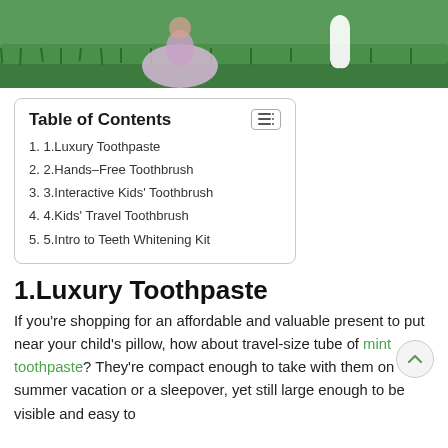[Figure (photo): Child in pink tutu dress on green grass near a white tooth prop]
| Table of Contents |
| --- |
| 1. 1.Luxury Toothpaste |
| 2. 2.Hands-Free Toothbrush |
| 3. 3.Interactive Kids' Toothbrush |
| 4. 4.Kids' Travel Toothbrush |
| 5. 5.Intro to Teeth Whitening Kit |
1.Luxury Toothpaste
If you're shopping for an affordable and valuable present to put near your child's pillow, how about travel-size tube of mint toothpaste? They're compact enough to take with them on summer vacation or a sleepover, yet still large enough to be visible and easy to